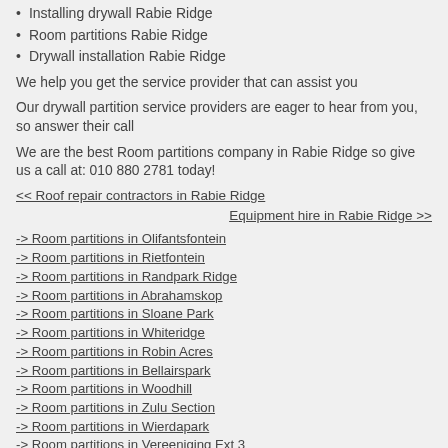Installing drywall Rabie Ridge
Room partitions Rabie Ridge
Drywall installation Rabie Ridge
We help you get the service provider that can assist you
Our drywall partition service providers are eager to hear from you, so answer their call
We are the best Room partitions company in Rabie Ridge so give us a call at: 010 880 2781 today!
<< Roof repair contractors in Rabie Ridge
Equipment hire in Rabie Ridge >>
-> Room partitions in Olifantsfontein
-> Room partitions in Rietfontein
-> Room partitions in Randpark Ridge
-> Room partitions in Abrahamskop
-> Room partitions in Sloane Park
-> Room partitions in Whiteridge
-> Room partitions in Robin Acres
-> Room partitions in Bellairspark
-> Room partitions in Woodhill
-> Room partitions in Zulu Section
-> Room partitions in Wierdapark
-> Room partitions in Vereeniging Ext 3
-> Room partitions in Nanescol